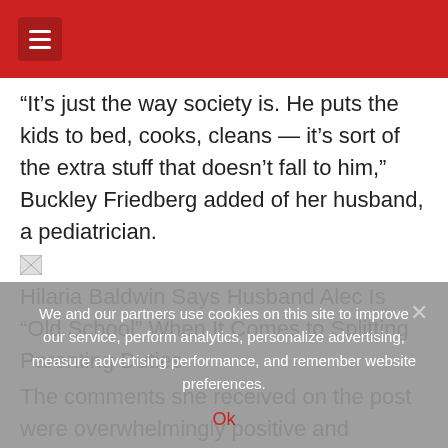≡
“It’s just the way society is. He puts the kids to bed, cooks, cleans — it’s sort of the extra stuff that doesn’t fall to him,” Buckley Friedberg added of her husband, a pediatrician.
[Figure (photo): Broken image placeholder]
Hilaria Baldwin Says Husband Alec Is “Old School” When It Comes to Splitting Parenting Duties
The comments she received on the post were overwhelmingly positive and supportive — but like anything that blows up on social media, the critics came
We and our partners use cookies on this site to improve our service, perform analytics, personalize advertising, measure advertising performance, and remember website preferences.
Ok